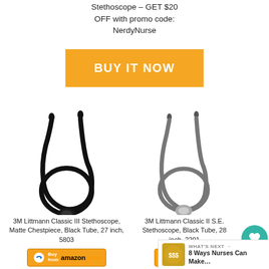Stethoscope – GET $20 OFF with promo code: NerdyNurse
[Figure (other): Orange BUY IT NOW button]
[Figure (photo): 3M Littmann Classic III Stethoscope, Matte Chestpiece, Black Tube, 27 inch, 5803 - product image with Amazon buy button]
3M Littmann Classic III Stethoscope, Matte Chestpiece, Black Tube, 27 inch, 5803
[Figure (photo): 3M Littmann Classic II S.E. Stethoscope, Black Tube, 28 inch, 2201 - product image with Amazon buy button]
3M Littmann Classic II S.E. Stethoscope, Black Tube, 28 inch, 2201
WHAT'S NEXT → 8 Ways Nurses Can Make…